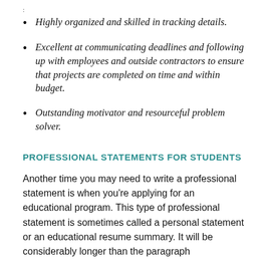Highly organized and skilled in tracking details.
Excellent at communicating deadlines and following up with employees and outside contractors to ensure that projects are completed on time and within budget.
Outstanding motivator and resourceful problem solver.
PROFESSIONAL STATEMENTS FOR STUDENTS
Another time you may need to write a professional statement is when you're applying for an educational program. This type of professional statement is sometimes called a personal statement or an educational resume summary. It will be considerably longer than the paragraph